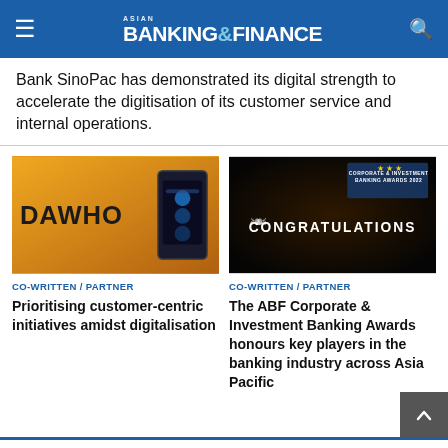Asian Banking & Finance
Bank SinoPac has demonstrated its digital strength to accelerate the digitisation of its customer service and internal operations.
[Figure (photo): A hand holding a smartphone with a mobile banking app, in front of a yellow background with 'DAWHO' branding text]
[Figure (photo): A dark congratulations banner with stars and laurel wreaths for the ABF Corporate & Investment Banking Awards 2022]
CO-WRITTEN / PARTNER
Prioritising customer-centric initiatives amidst digitalisation
CO-WRITTEN / PARTNER
The ABF Corporate & Investment Banking Awards honours key players in the banking industry across Asia Pacific